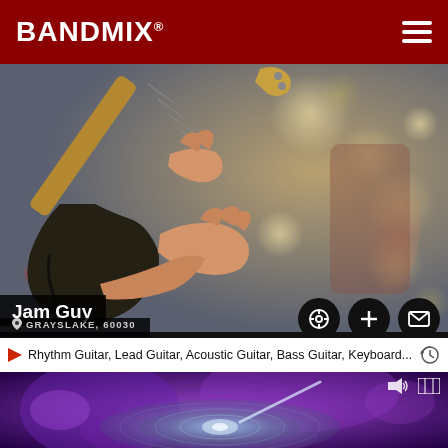BANDMIX®
[Figure (photo): Close-up photo of hands playing an electric guitar on stage, blurred background with bokeh lights]
Jam Guy
GRAYSLAKE, 60030
Rhythm Guitar, Lead Guitar, Acoustic Guitar, Bass Guitar, Keyboard...
[Figure (photo): Close-up photo of purple-lit cymbal/drum being played, blurred purple background]